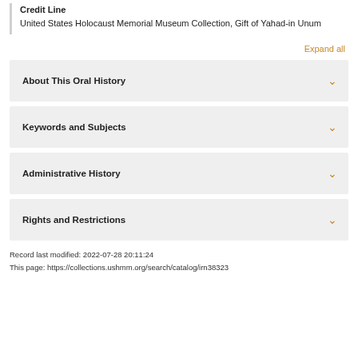Credit Line
United States Holocaust Memorial Museum Collection, Gift of Yahad-in Unum
Expand all
About This Oral History
Keywords and Subjects
Administrative History
Rights and Restrictions
Record last modified: 2022-07-28 20:11:24
This page: https://collections.ushmm.org/search/catalog/irn38323